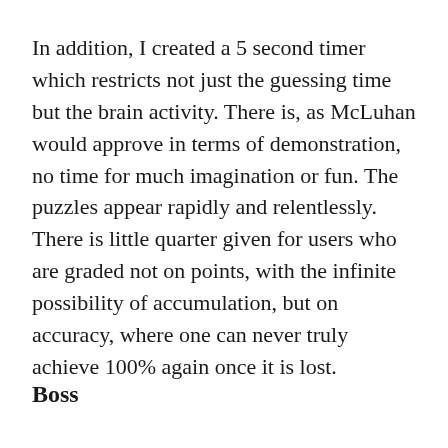In addition, I created a 5 second timer which restricts not just the guessing time but the brain activity. There is, as McLuhan would approve in terms of demonstration, no time for much imagination or fun. The puzzles appear rapidly and relentlessly. There is little quarter given for users who are graded not on points, with the infinite possibility of accumulation, but on accuracy, where one can never truly achieve 100% again once it is lost.
Boss